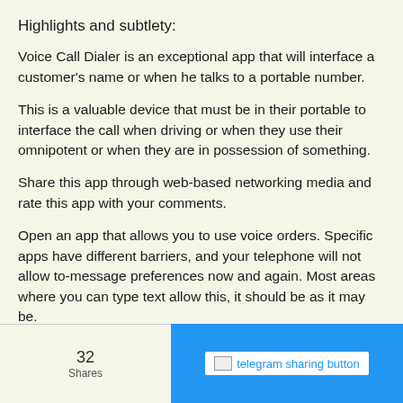Highlights and subtlety:
Voice Call Dialer is an exceptional app that will interface a customer's name or when he talks to a portable number.
This is a valuable device that must be in their portable to interface the call when driving or when they use their omnipotent or when they are in possession of something.
Share this app through web-based networking media and rate this app with your comments.
Open an app that allows you to use voice orders. Specific apps have different barriers, and your telephone will not allow to-message preferences now and again. Most areas where you can type text allow this, it should be as it may be.
Tap the mouthpiece button on one side of the spacebar. Chancef chance that you won't see the receiver, you cannot access voice-to-text for the option you are using at the time.
32 Shares | telegram sharing button